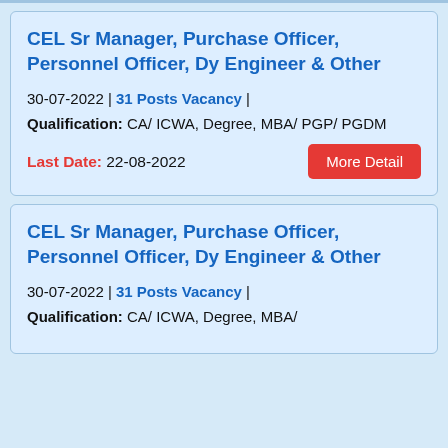CEL Sr Manager, Purchase Officer, Personnel Officer, Dy Engineer & Other
30-07-2022 | 31 Posts Vacancy | Qualification: CA/ ICWA, Degree, MBA/ PGP/ PGDM
Last Date: 22-08-2022
CEL Sr Manager, Purchase Officer, Personnel Officer, Dy Engineer & Other
30-07-2022 | 31 Posts Vacancy | Qualification: CA/ ICWA, Degree, MBA/